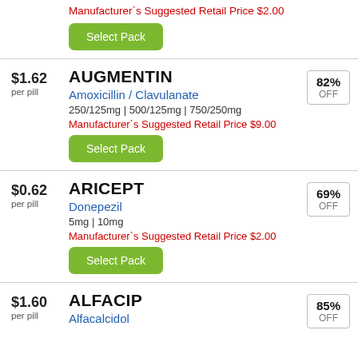Manufacturer`s Suggested Retail Price $2.00
Select Pack
$1.62 per pill
AUGMENTIN
Amoxicillin / Clavulanate
250/125mg | 500/125mg | 750/250mg
Manufacturer`s Suggested Retail Price $9.00
Select Pack
82% OFF
$0.62 per pill
ARICEPT
Donepezil
5mg | 10mg
Manufacturer`s Suggested Retail Price $2.00
Select Pack
69% OFF
$1.60 per pill
ALFACIP
Alfacalcidol
85% OFF